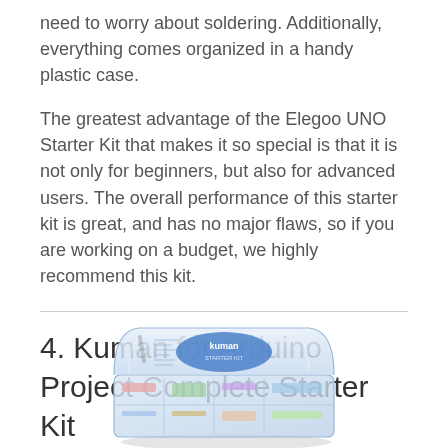need to worry about soldering. Additionally, everything comes organized in a handy plastic case.
The greatest advantage of the Elegoo UNO Starter Kit that makes it so special is that it is not only for beginners, but also for advanced users. The overall performance of this starter kit is great, and has no major flaws, so if you are working on a budget, we highly recommend this kit.
4. Kuman for Arduino Project Complete Starter Kit
[Figure (photo): Photo of the Kuman for Arduino Project Complete Starter Kit in a clear plastic organizer case with a blue Kuman logo sticker visible.]